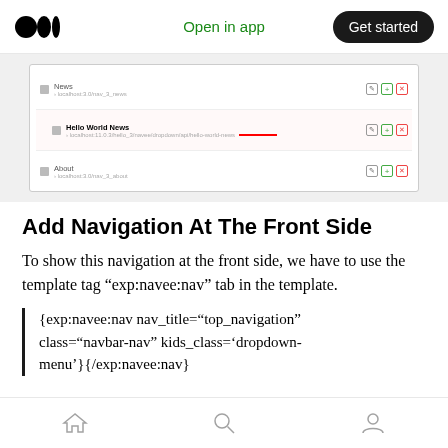Open in app | Get started
[Figure (screenshot): Screenshot of a navigation tree interface showing three rows: News (localhost:3.0/nav_3_news), Hello World News (localhost:11.0.3/hello_3/navee/dropdown/api/hello-world-news with red arrow), and About (localhost:3.0/nav_3_about). Each row has edit, add, and delete icons.]
Add Navigation At The Front Side
To show this navigation at the front side, we have to use the template tag “exp:navee:nav” tab in the template.
{exp:navee:nav nav_title="top_navigation" class="navbar-nav" kids_class='dropdown-menu'}{/exp:navee:nav}
Home | Search | Profile